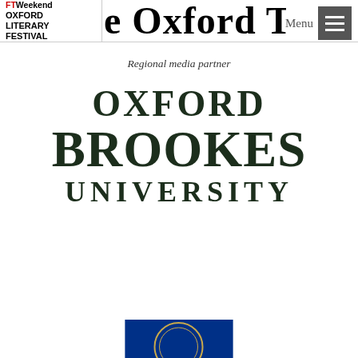[Figure (logo): FT Weekend Oxford Literary Festival logo in top left corner]
[Figure (logo): Partial Oxford Times masthead text at top]
Menu
Regional media partner
[Figure (logo): Oxford Brookes University logo - large bold text: OXFORD BROOKES UNIVERSITY]
[Figure (logo): Partial blue university crest/logo visible at bottom of page]